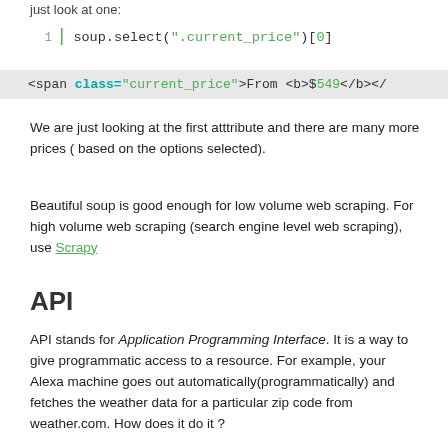just look at one:
<span class="current_price">From <b>$549</b></
We are just looking at the first atttribute and there are many more prices ( based on the options selected).
Beautiful soup is good enough for low volume web scraping. For high volume web scraping (search engine level web scraping), use Scrapy
API
API stands for Application Programming Interface. It is a way to give programmatic access to a resource. For example, your Alexa machine goes out automatically(programmatically) and fetches the weather data for a particular zip code from weather.com. How does it do it ?